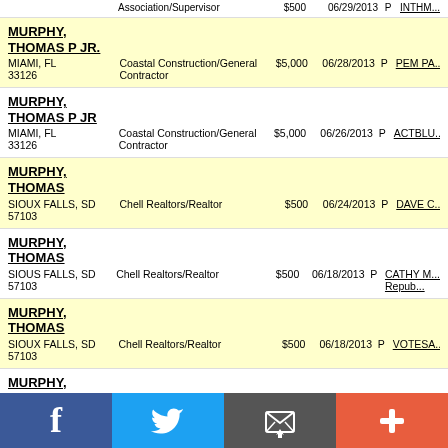| Name/Address | Employer/Occupation | Amount | Date | Type | Recipient |
| --- | --- | --- | --- | --- | --- |
| MURPHY, THOMAS P JR.
MIAMI, FL 33126 | Coastal Construction/General Contractor | $5,000 | 06/28/2013 | P | PEM PA... |
| MURPHY, THOMAS P JR
MIAMI, FL 33126 | Coastal Construction/General Contractor | $5,000 | 06/26/2013 | P | ACTBLU... |
| MURPHY, THOMAS
SIOUX FALLS, SD 57103 | Chell Realtors/Realtor | $500 | 06/24/2013 | P | DAVE C... |
| MURPHY, THOMAS
SIOUS FALLS, SD 57103 | Chell Realtors/Realtor | $500 | 06/18/2013 | P | CATHY... Republic... |
| MURPHY, THOMAS
SIOUX FALLS, SD 57103 | Chell Realtors/Realtor | $500 | 06/18/2013 | P | VOTESA... |
| MURPHY, THOMAS
SIOUX FALLS, SD 57103 | Chell Realtors/Realtor | $500 | 06/18/2013 | P | VOTESA... |
[Figure (infographic): Social media sharing footer bar with Facebook (blue), Twitter (light blue), Email (dark gray), and Plus/More (orange-red) buttons]